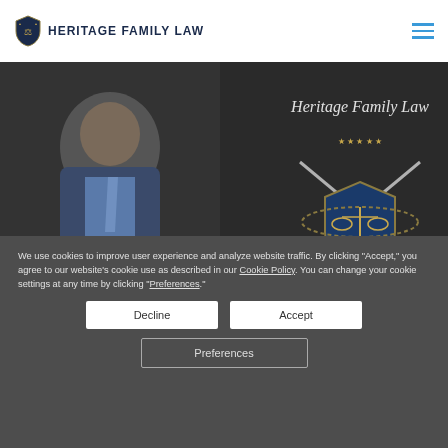HERITAGE FAMILY LAW
[Figure (photo): Hero banner showing a man (Glenn Slate M.A., J.D., Managing Attorney) on the left side and Heritage Family Law logo/shield on the right side, dark background]
REQUEST A CONSULTATION
The Best Divorce Attorney Creswell Heights Washington
We use cookies to improve user experience and analyze website traffic. By clicking “Accept,” you agree to our website’s cookie use as described in our Cookie Policy. You can change your cookie settings at any time by clicking “Preferences.”
Decline
Accept
Preferences